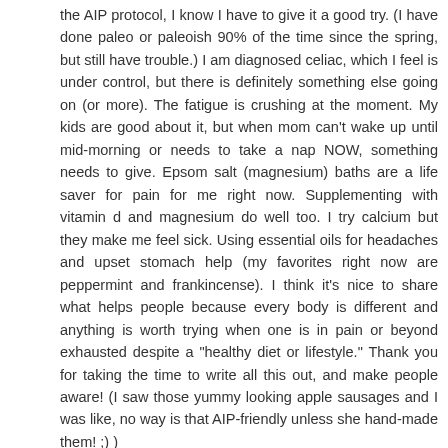the AIP protocol, I know I have to give it a good try. (I have done paleo or paleoish 90% of the time since the spring, but still have trouble.) I am diagnosed celiac, which I feel is under control, but there is definitely something else going on (or more). The fatigue is crushing at the moment. My kids are good about it, but when mom can't wake up until mid-morning or needs to take a nap NOW, something needs to give. Epsom salt (magnesium) baths are a life saver for pain for me right now. Supplementing with vitamin d and magnesium do well too. I try calcium but they make me feel sick. Using essential oils for headaches and upset stomach help (my favorites right now are peppermint and frankincense). I think it's nice to share what helps people because every body is different and anything is worth trying when one is in pain or beyond exhausted despite a "healthy diet or lifestyle." Thank you for taking the time to write all this out, and make people aware! (I saw those yummy looking apple sausages and I was like, no way is that AIP-friendly unless she hand-made them! ;) )
2015-08-21 19:37:34
Reply